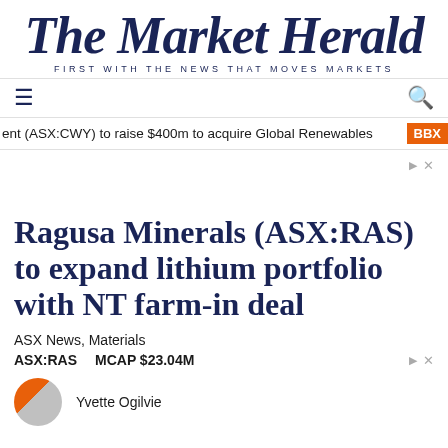The Market Herald
FIRST WITH THE NEWS THAT MOVES MARKETS
≡   🔍
ent (ASX:CWY) to raise $400m to acquire Global Renewables   BBX
Ragusa Minerals (ASX:RAS) to expand lithium portfolio with NT farm-in deal
ASX News, Materials
ASX:RAS   MCAP $23.04M
Yvette Ogilvie